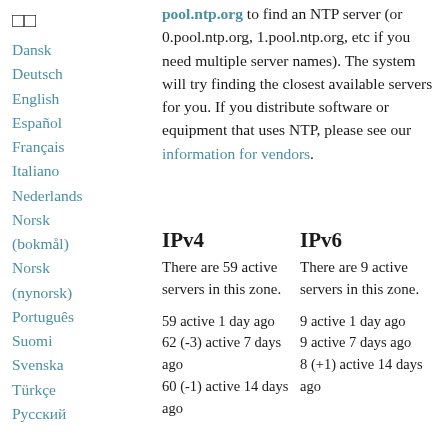□□
Dansk
Deutsch
English
Español
Français
Italiano
Nederlands
Norsk (bokmål)
Norsk (nynorsk)
Português
Suomi
Svenska
Türkçe
Русский
pool.ntp.org to find an NTP server (or 0.pool.ntp.org, 1.pool.ntp.org, etc if you need multiple server names). The system will try finding the closest available servers for you. If you distribute software or equipment that uses NTP, please see our information for vendors.
IPv4
IPv6
There are 59 active servers in this zone.
There are 9 active servers in this zone.
59 active 1 day ago
62 (-3) active 7 days ago
60 (-1) active 14 days ago
9 active 1 day ago
9 active 7 days ago
8 (+1) active 14 days ago